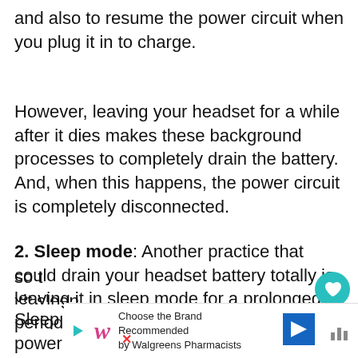and also to resume the power circuit when you plug it in to charge.
However, leaving your headset for a while after it dies makes these background processes to completely drain the battery. And, when this happens, the power circuit is completely disconnected.
2. Sleep mode: Another practice that could drain your headset battery totally is leaving it in sleep mode for a prolonged period.
Sleep mode still uses a lot of battery power to maintain your apps and activities in the background so t... xit sleep mod...
[Figure (other): Walgreens advertisement banner: Choose the Brand Recommended by Walgreens Pharmacists]